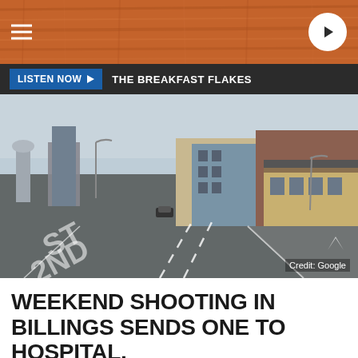[Figure (screenshot): Radio station website header with orange wood-grain background, hamburger menu icon on left, East Country 102.9 logo in center, circular play button on right]
LISTEN NOW ▶  THE BREAKFAST FLAKES
[Figure (photo): Street-level Google Street View photo of a commercial area in Billings, Montana. A wide road with painted lane markings in foreground, commercial buildings along right side, city skyline visible in mid-distance, overcast winter sky. Credit: Google]
Credit: Google
WEEKEND SHOOTING IN BILLINGS SENDS ONE TO HOSPITAL,